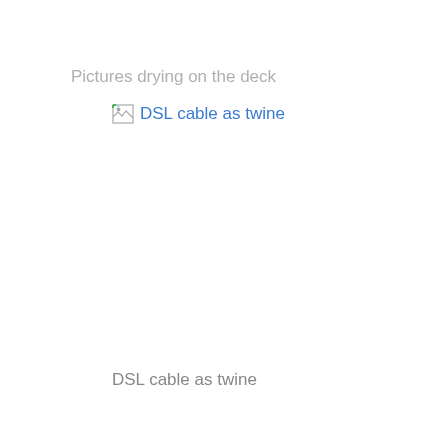Pictures drying on the deck
[Figure (photo): Broken image placeholder with alt text 'DSL cable as twine' shown as a hyperlink in blue]
DSL cable as twine